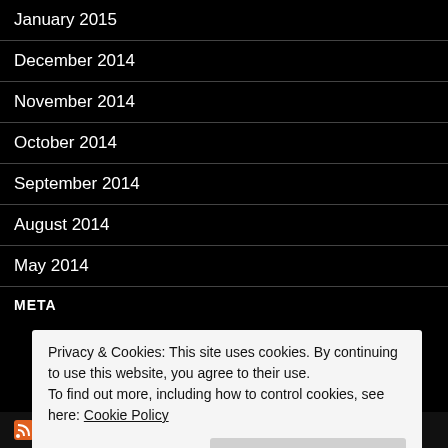January 2015
December 2014
November 2014
October 2014
September 2014
August 2014
May 2014
META
Privacy & Cookies: This site uses cookies. By continuing to use this website, you agree to their use.
To find out more, including how to control cookies, see here: Cookie Policy
Close and accept
SIMONSDIALOGS